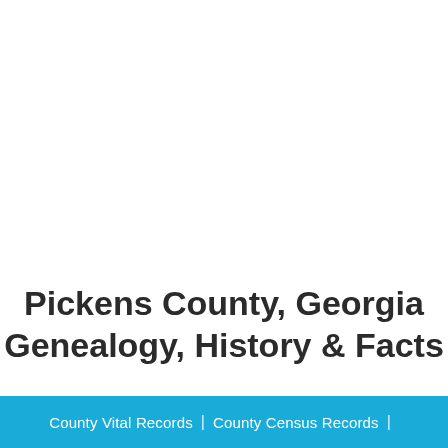Pickens County, Georgia Genealogy, History & Facts
County Vital Records | County Census Records |